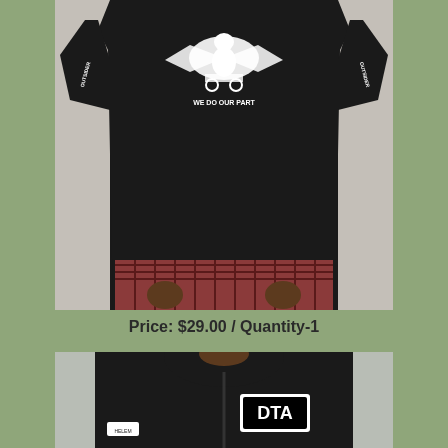[Figure (photo): Person wearing a black graphic t-shirt with a white eagle design on the chest and text 'WE DO OUR PART', with sleeve text visible. Layered over a plaid shirt.]
Price: $29.00 / Quantity-1
[Figure (photo): Person wearing a black zip-up hoodie with a large 'DTA' patch on the chest and a small label on the sleeve.]